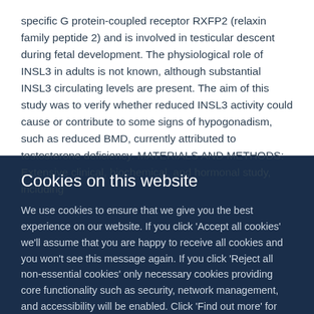specific G protein-coupled receptor RXFP2 (relaxin family peptide 2) and is involved in testicular descent during fetal development. The physiological role of INSL3 in adults is not known, although substantial INSL3 circulating levels are present. The aim of this study was to verify whether reduced INSL3 activity could cause or contribute to some signs of hypogonadism, such as reduced BMD, currently attributed to testosterone deficiency. MATERIALS AND METHODS: Extensive clinical, biochemical, and hormonal study, including
Cookies on this website
We use cookies to ensure that we give you the best experience on our website. If you click 'Accept all cookies' we'll assume that you are happy to receive all cookies and you won't see this message again. If you click 'Reject all non-essential cookies' only necessary cookies providing core functionality such as security, network management, and accessibility will be enabled. Click 'Find out more' for